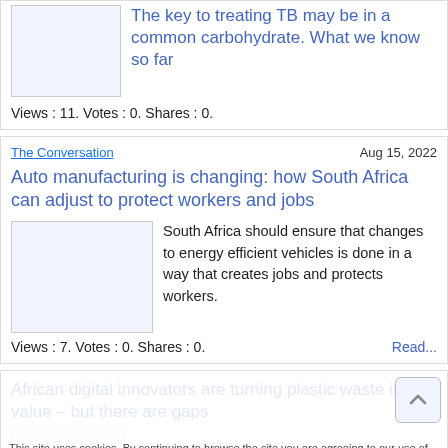The key to treating TB may be in a common carbohydrate. What we know so far
Views : 11. Votes : 0. Shares : 0.
The Conversation
Aug 15, 2022
Auto manufacturing is changing: how South Africa can adjust to protect workers and jobs
South Africa should ensure that changes to energy efficient vehicles is done in a way that creates jobs and protects workers.
Views : 7. Votes : 0. Shares : 0.
Read...
African digital innovators are turning plastic waste into value – but there are gaps
This site uses cookies. By continuing to browse the site you are agreeing to our use of cookies.
I understand
Views : 9. Votes : 0. Shares : 0.